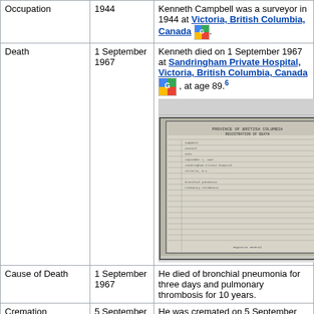| Event | Date | Description |
| --- | --- | --- |
| Occupation | 1944 | Kenneth Campbell was a surveyor in 1944 at Victoria, British Columbia, Canada [map icon]. |
| Death | 1 September 1967 | Kenneth died on 1 September 1967 at Sandringham Private Hospital, Victoria, British Columbia, Canada [map icon], at age 89. [6] [document image] |
| Cause of Death | 1 September 1967 | He died of bronchial pneumonia for three days and pulmonary thrombosis for 10 years. |
| Cremation | 5 September 1967 | He was cremated on 5 September 1967 at Saanich, British Columbia, Canada [map icon] |